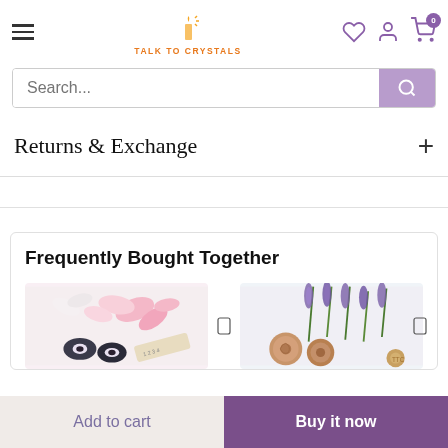Talk to Crystals — navigation header with hamburger menu, logo, heart icon, user icon, cart icon (0)
Search...
Returns & Exchange
Frequently Bought Together
[Figure (photo): Product photo: crystals with pink flowers on white background]
[Figure (photo): Product photo: wooden items with purple lavender flowers on white background]
Add to cart
Buy it now